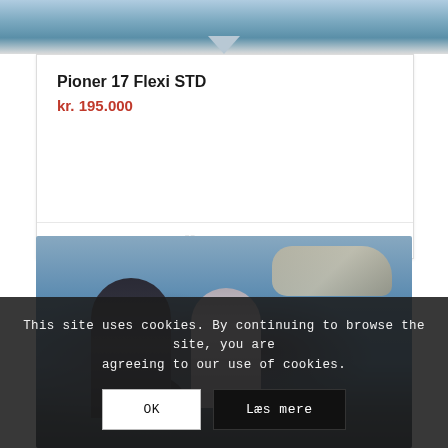[Figure (photo): Partial view of a boat on water, top of image]
Pioner 17 Flexi STD
kr. 195.000
Vis detaljer
[Figure (photo): Two women on a boat on the water, one steering]
This site uses cookies. By continuing to browse the site, you are agreeing to our use of cookies.
OK
Læs mere